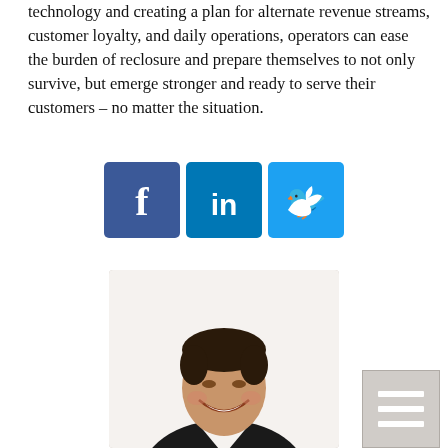technology and creating a plan for alternate revenue streams, customer loyalty, and daily operations, operators can ease the burden of reclosure and prepare themselves to not only survive, but emerge stronger and ready to serve their customers – no matter the situation.
[Figure (other): Social media share buttons: Facebook (dark blue), LinkedIn (medium blue), Twitter (light blue)]
[Figure (photo): Headshot of a smiling young man wearing a black v-neck shirt, photographed against a white background]
[Figure (other): Hamburger menu button (three horizontal lines) in bottom-right corner]